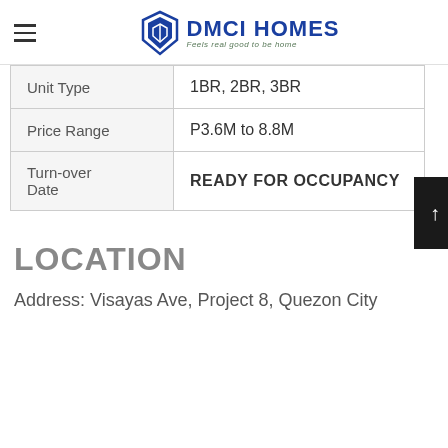DMCI HOMES – Feels real good to be home
| Unit Type | 1BR, 2BR, 3BR |
| Price Range | P3.6M to 8.8M |
| Turn-over Date | READY FOR OCCUPANCY |
LOCATION
Address: Visayas Ave, Project 8, Quezon City